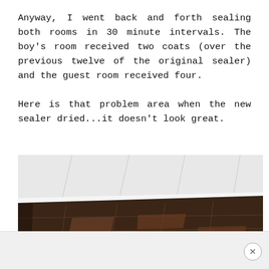Anyway, I went back and forth sealing both rooms in 30 minute intervals. The boy's room received two coats (over the previous twelve of the original sealer) and the guest room received four.

Here is that problem area when the new sealer dried...it doesn't look great.
[Figure (photo): Photo showing dark brown tile floor meeting white baseboard/wainscoting wall panels. The floor tiles show an uneven patchy appearance where the sealer has dried unevenly.]